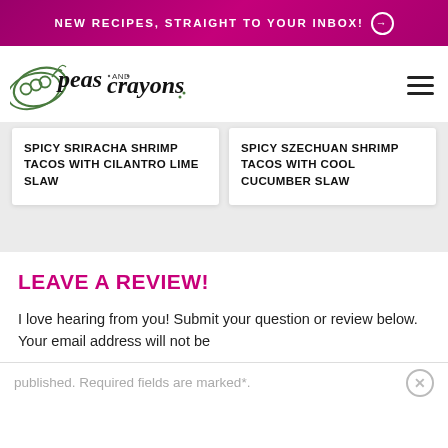NEW RECIPES, STRAIGHT TO YOUR INBOX! →
[Figure (logo): Peas and Crayons blog logo with illustrated pea pod and script/handwritten text]
SPICY SRIRACHA SHRIMP TACOS WITH CILANTRO LIME SLAW
SPICY SZECHUAN SHRIMP TACOS WITH COOL CUCUMBER SLAW
LEAVE A REVIEW!
I love hearing from you! Submit your question or review below. Your email address will not be published. Required fields are marked*.